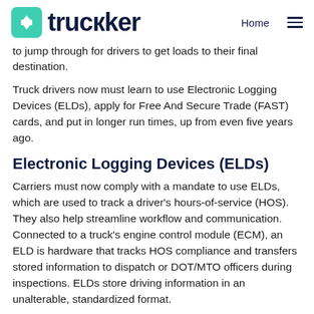truckker — Home
to jump through for drivers to get loads to their final destination.
Truck drivers now must learn to use Electronic Logging Devices (ELDs), apply for Free And Secure Trade (FAST) cards, and put in longer run times, up from even five years ago.
Electronic Logging Devices (ELDs)
Carriers must now comply with a mandate to use ELDs, which are used to track a driver's hours-of-service (HOS). They also help streamline workflow and communication. Connected to a truck's engine control module (ECM), an ELD is hardware that tracks HOS compliance and transfers stored information to dispatch or DOT/MTO officers during inspections. ELDs store driving information in an unalterable, standardized format.